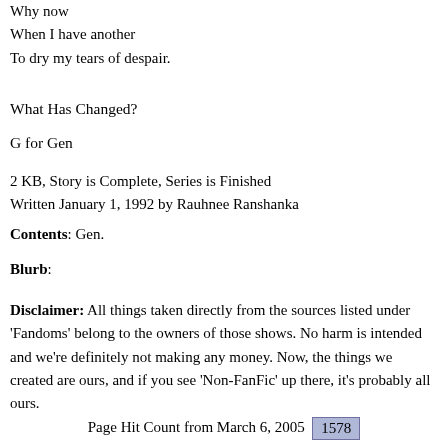Why now
When I have another
To dry my tears of despair.
[Figure (illustration): Decorative horizontal divider featuring repeating blue and black stylized bird/dolphin motifs on a white background.]
What Has Changed?
G for Gen
2 KB, Story is Complete, Series is Finished
Written January 1, 1992 by Rauhnee Ranshanka
Contents: Gen.
Blurb:
Disclaimer: All things taken directly from the sources listed under 'Fandoms' belong to the owners of those shows. No harm is intended and we're definitely not making any money. Now, the things we created are ours, and if you see 'Non-FanFic' up there, it's probably all ours.
Page Hit Count from March 6, 2005   1578